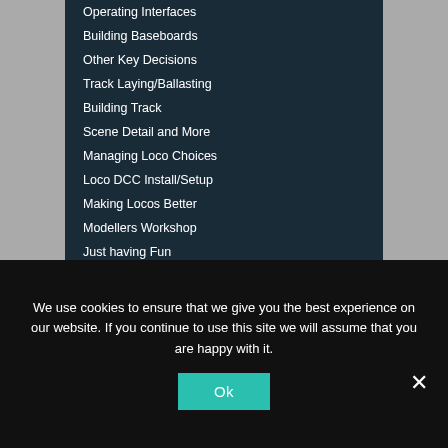Operating Interfaces
Building Baseboards
Other Key Decisions
Track Laying/Ballasting
Building Track
Scene Detail and More
Managing Loco Choices
Loco DCC Install/Setup
Making Locos Better
Modellers Workshop
Just having Fun
CONTACT US
Showrooms & Office:
Winter Times
We use cookies to ensure that we give you the best experience on our website. If you continue to use this site we will assume that you are happy with it.